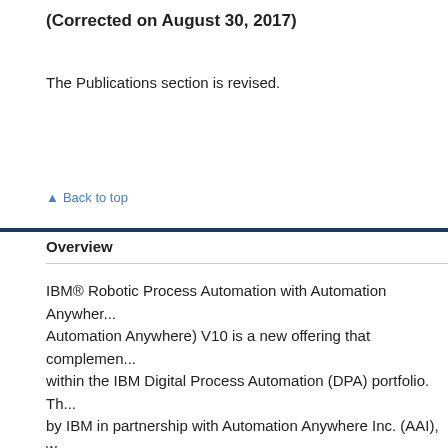(Corrected on August 30, 2017)
The Publications section is revised.
↑ Back to top
Overview
IBM® Robotic Process Automation with Automation Anywhere (IBM RPA with Automation Anywhere) V10 is a new offering that complements existing offerings within the IBM Digital Process Automation (DPA) portfolio. The solution is developed by IBM in partnership with Automation Anywhere Inc. (AAI), which was named in the Forrester Wave as a leader in Robotic Process Automation (R...
IBM RPA with Automation Anywhere can be used to create a... automate repetitive tasks to maximize your knowledge workers... enabling them to focus on higher value activities. IBM RPA w...